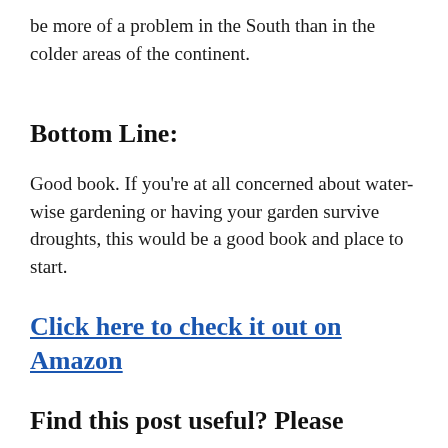be more of a problem in the South than in the colder areas of the continent.
Bottom Line:
Good book. If you're at all concerned about water-wise gardening or having your garden survive droughts, this would be a good book and place to start.
Click here to check it out on Amazon
Find this post useful? Please